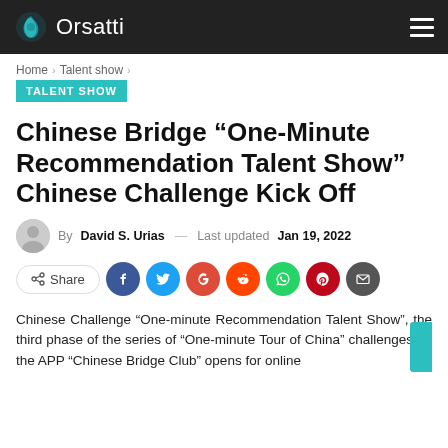Orsatti
Home > Talent show >
TALENT SHOW
Chinese Bridge “One-Minute Recommendation Talent Show” Chinese Challenge Kick Off
By David S. Urias — Last updated Jan 19, 2022
[Figure (other): Social share row with Share button and social media icon circles: Facebook, Twitter, Google, Reddit, WhatsApp, Pinterest, Email]
Chinese Challenge “One-minute Recommendation Talent Show”, the third phase of the series of “One-minute Tour of China” challenges on the APP “Chinese Bridge Club” opens for online